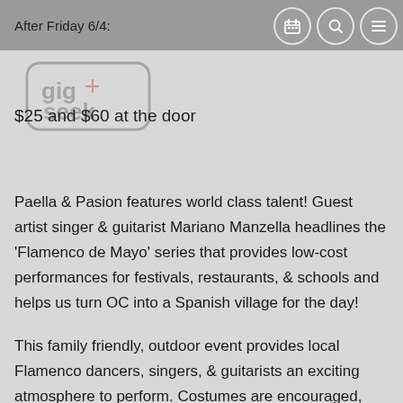After Friday 6/4:
$25 and $60 at the door
[Figure (logo): GigSeek watermark logo with red crosshair icon and stylized text]
Paella & Pasion features world class talent! Guest artist singer & guitarist Mariano Manzella headlines the 'Flamenco de Mayo' series that provides low-cost performances for festivals, restaurants, & schools and helps us turn OC into a Spanish village for the day!
This family friendly, outdoor event provides local Flamenco dancers, singers, & guitarists an exciting atmosphere to perform. Costumes are encouraged, and even for sale. Don your Spanish Chic or Gypsy attire and join the fun.